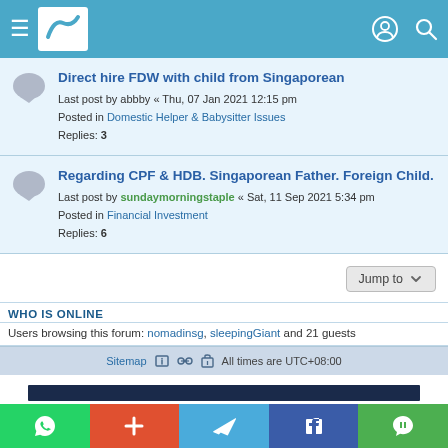Forum navigation bar with hamburger menu, logo, profile icon, and search icon
Direct hire FDW with child from Singaporean
Last post by abbby « Thu, 07 Jan 2021 12:15 pm
Posted in Domestic Helper & Babysitter Issues
Replies: 3
Regarding CPF & HDB. Singaporean Father. Foreign Child.
Last post by sundaymorningstaple « Sat, 11 Sep 2021 5:34 pm
Posted in Financial Investment
Replies: 6
Jump to
WHO IS ONLINE
Users browsing this forum: nomadinsg, sleepingGiant and 21 guests
Sitemap  All times are UTC+08:00